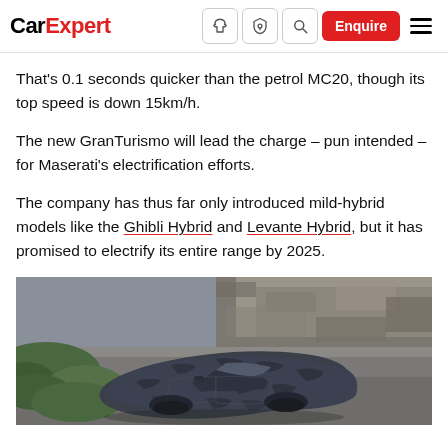CarExpert — navigation bar with icons and Enquire button
That’s 0.1 seconds quicker than the petrol MC20, though its top speed is down 15km/h.
The new GranTurismo will lead the charge – pun intended – for Maserati’s electrification efforts.
The company has thus far only introduced mild-hybrid models like the Ghibli Hybrid and Levante Hybrid, but it has promised to electrify its entire range by 2025.
[Figure (photo): Aerial/overhead view of a camouflaged Maserati GranTurismo Folgore electric car driving on a road, shot from above with greenery and rock visible on the left.]